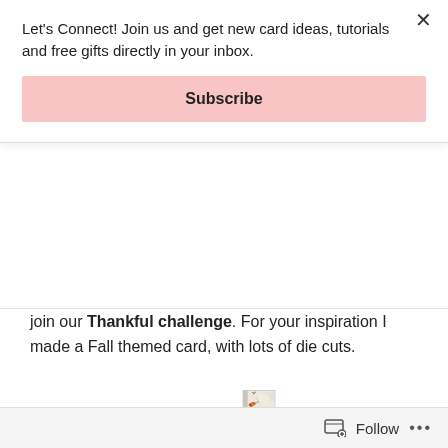Let's Connect! Join us and get new card ideas, tutorials and free gifts directly in your inbox.
Subscribe
join our Thankful challenge. For your inspiration I made a Fall themed card, with lots of die cuts.
[Figure (photo): A handmade Fall themed card with die cut lace border, autumn leaves, orange flowers, and decorative botanical elements on a cream background.]
Follow